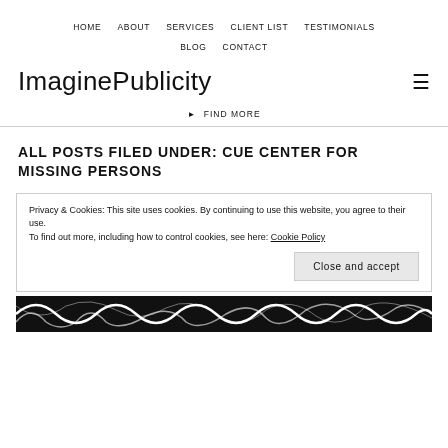HOME  ABOUT  SERVICES  CLIENT LIST  TESTIMONIALS  BLOG  CONTACT
ImaginePublicity
▶ FIND MORE
ALL POSTS FILED UNDER: CUE CENTER FOR MISSING PERSONS
Privacy & Cookies: This site uses cookies. By continuing to use this website, you agree to their use.
To find out more, including how to control cookies, see here: Cookie Policy
Close and accept
[Figure (illustration): Black and white swirling abstract pattern at the bottom of the page]